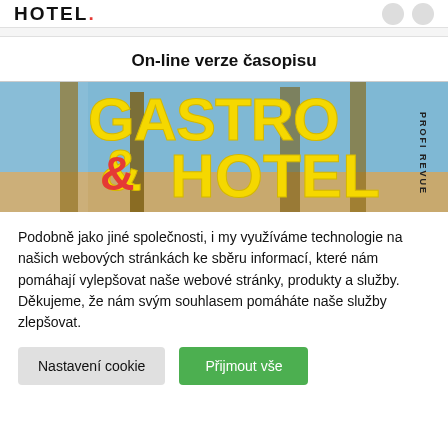HOTEL
On-line verze časopisu
[Figure (illustration): Magazine cover for GASTRO & HOTEL PROFI REVUE with large yellow bold text on a background of wooden posts and blue sky]
Podobně jako jiné společnosti, i my využíváme technologie na našich webových stránkách ke sběru informací, které nám pomáhají vylepšovat naše webové stránky, produkty a služby. Děkujeme, že nám svým souhlasem pomáháte naše služby zlepšovat.
Nastavení cookie
Přijmout vše